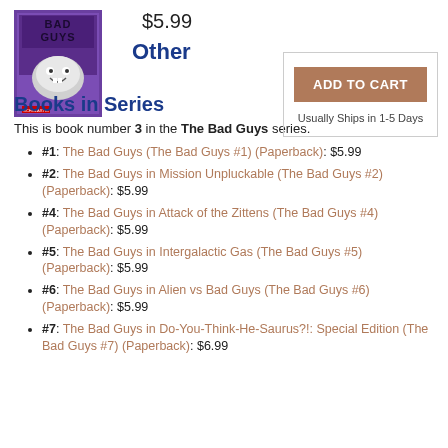[Figure (photo): Book cover of 'The Bad Guys' with purple background and cartoon shark character]
$5.99
Other Books in Series
ADD TO CART
Usually Ships in 1-5 Days
This is book number 3 in the The Bad Guys series.
#1: The Bad Guys (The Bad Guys #1) (Paperback): $5.99
#2: The Bad Guys in Mission Unpluckable (The Bad Guys #2) (Paperback): $5.99
#4: The Bad Guys in Attack of the Zittens (The Bad Guys #4) (Paperback): $5.99
#5: The Bad Guys in Intergalactic Gas (The Bad Guys #5) (Paperback): $5.99
#6: The Bad Guys in Alien vs Bad Guys (The Bad Guys #6) (Paperback): $5.99
#7: The Bad Guys in Do-You-Think-He-Saurus?!: Special Edition (The Bad Guys #7) (Paperback): $6.99